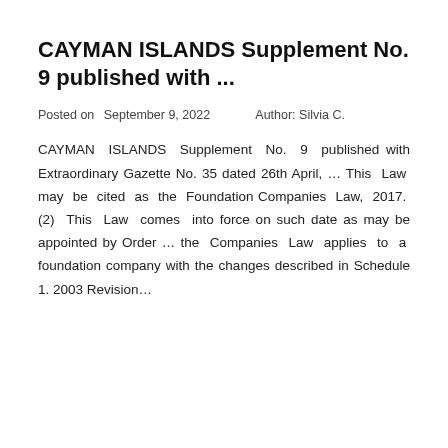CAYMAN ISLANDS Supplement No. 9 published with ...
Posted on  September 9, 2022     Author: Silvia C.
CAYMAN ISLANDS Supplement No. 9 published with Extraordinary Gazette No. 35 dated 26th April, … This Law may be cited as the Foundation Companies Law, 2017. (2) This Law comes into force on such date as may be appointed by Order … the Companies Law applies to a foundation company with the changes described in Schedule 1. 2003 Revision…